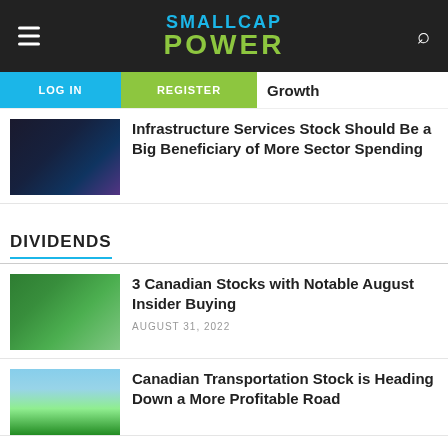SMALLCAP POWER
Growth
Infrastructure Services Stock Should Be a Big Beneficiary of More Sector Spending
DIVIDENDS
3 Canadian Stocks with Notable August Insider Buying
AUGUST 31, 2022
Canadian Transportation Stock is Heading Down a More Profitable Road